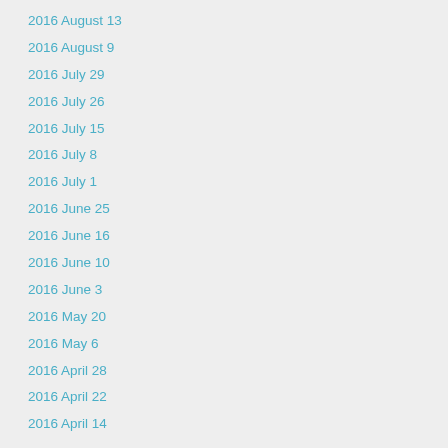2016 August 13
2016 August 9
2016 July 29
2016 July 26
2016 July 15
2016 July 8
2016 July 1
2016 June 25
2016 June 16
2016 June 10
2016 June 3
2016 May 20
2016 May 6
2016 April 28
2016 April 22
2016 April 14